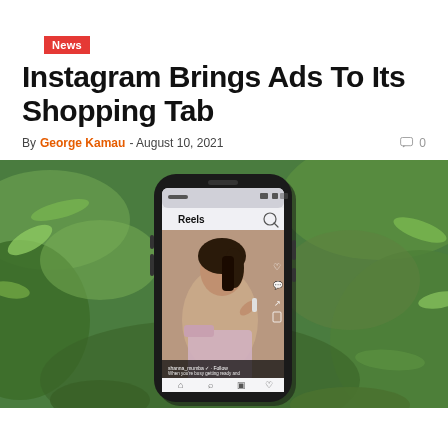News
Instagram Brings Ads To Its Shopping Tab
By George Kamau - August 10, 2021   0
[Figure (photo): A smartphone held outdoors among green leaves, showing the Instagram Reels screen with a woman applying lip product, with social interaction icons visible on the right side of the screen.]